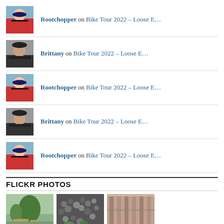Rootchopper on Bike Tour 2022 – Loose E…
Brittany on Bike Tour 2022 – Loose E…
Rootchopper on Bike Tour 2022 – Loose E…
Brittany on Bike Tour 2022 – Loose E…
Rootchopper on Bike Tour 2022 – Loose E…
FLICKR PHOTOS
[Figure (photo): Three Flickr photo thumbnails: outdoor seating area with trees, pile of rocks/gravel, and building exterior with vertical elements]
More Photos